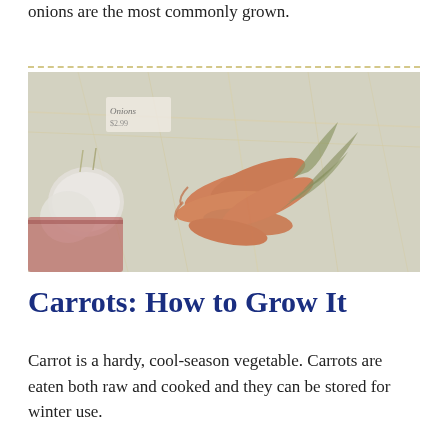onions are the most commonly grown.
[Figure (photo): Photograph of freshly harvested carrots with green tops scattered on straw/grass, with white onions visible on the left side and a handwritten 'Onions' label sign in upper left.]
Carrots: How to Grow It
Carrot is a hardy, cool-season vegetable. Carrots are eaten both raw and cooked and they can be stored for winter use.